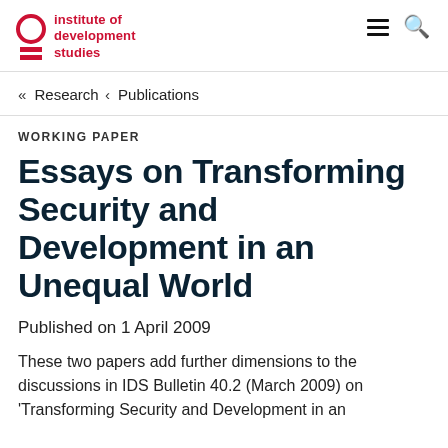Institute of development studies
« Research ‹ Publications
WORKING PAPER
Essays on Transforming Security and Development in an Unequal World
Published on 1 April 2009
These two papers add further dimensions to the discussions in IDS Bulletin 40.2 (March 2009) on 'Transforming Security and Development in an